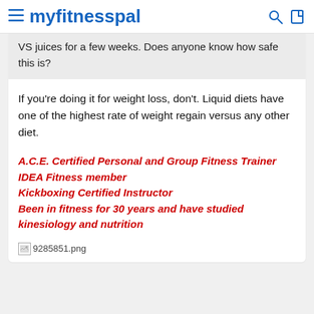myfitnesspal
VS juices for a few weeks. Does anyone know how safe this is?
If you're doing it for weight loss, don't. Liquid diets have one of the highest rate of weight regain versus any other diet.
A.C.E. Certified Personal and Group Fitness Trainer
IDEA Fitness member
Kickboxing Certified Instructor
Been in fitness for 30 years and have studied kinesiology and nutrition
[Figure (other): Broken image placeholder showing 9285851.png]